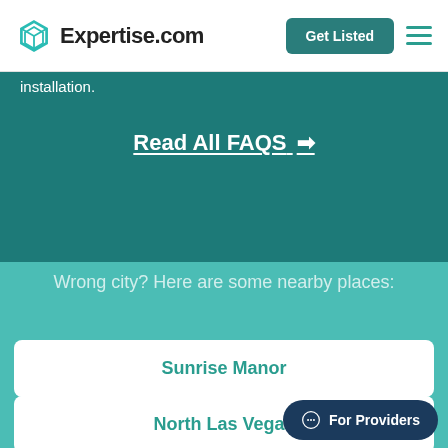Expertise.com
installation.
Read All FAQS →
Wrong city? Here are some nearby places:
Sunrise Manor
North Las Vegas
For Providers